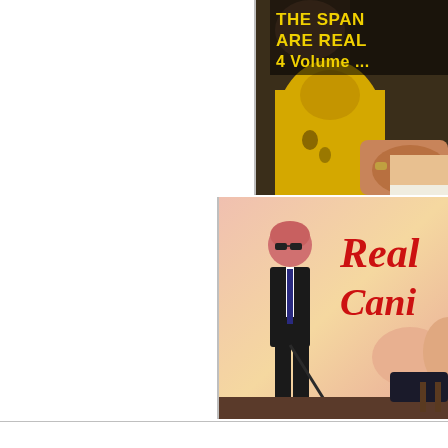[Figure (photo): Top row: partial view of a person in a yellow shirt with another person, with overlaid yellow text reading 'THE SPAN... ARE REAL... 4 Volume ...' on a dark background. Image is cropped on the right edge.]
[Figure (photo): Middle row: illustrated/photographic image showing a man in a black suit and sunglasses holding a cane, with text 'Real' and 'Cani...' in red on a pink/peach background. Image cropped on right edge.]